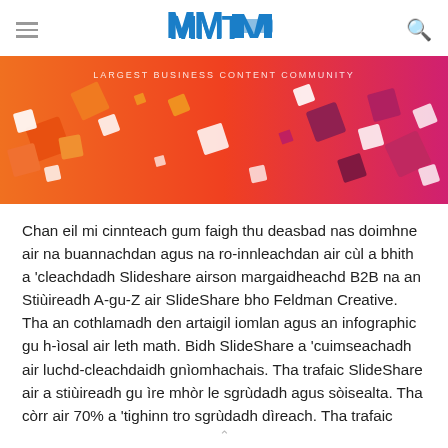MMT / LARGEST BUSINESS CONTENT COMMUNITY
[Figure (illustration): Colorful banner image with orange and pink gradient background featuring 3D floating square/diamond shapes in orange, white, and dark pink/maroon colors. Text reads LARGEST BUSINESS CONTENT COMMUNITY.]
Chan eil mi cinnteach gum faigh thu deasbad nas doimhne air na buannachdan agus na ro-innleachdan air cùl a bhith a 'cleachdadh Slideshare airson margaidheachd B2B na an Stiùireadh A-gu-Z air SlideShare bho Feldman Creative. Tha an cothlamadh den artaigil iomlan agus an infographic gu h-ìosal air leth math. Bidh SlideShare a 'cuimseachadh air luchd-cleachdaidh gnìomhachais. Tha trafaic SlideShare air a stiùireadh gu ìre mhòr le sgrùdadh agus sòisealta. Tha còrr air 70% a 'tighinn tro sgrùdadh dìreach. Tha trafaic